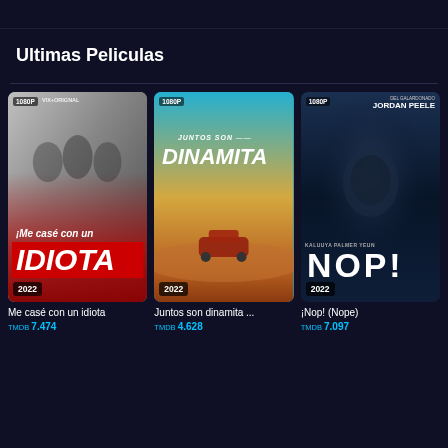Ultimas Peliculas
[Figure (photo): Movie poster: Me casé con un idiota (2022), 1080p, VIX+ Original]
Me casé con un idiota
TMDB 7.474
[Figure (photo): Movie poster: Juntos son dinamita (2022), 1080p]
Juntos son dinamita ...
TMDB 4.628
[Figure (photo): Movie poster: ¡Nop! (Nope) (2022), 1080p, directed by Jordan Peele]
¡Nop! (Nope)
TMDB 7.097